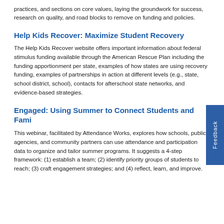practices, and sections on core values, laying the groundwork for success, research on quality, and road blocks to remove on funding and policies.
Help Kids Recover: Maximize Student Recovery
The Help Kids Recover website offers important information about federal stimulus funding available through the American Rescue Plan including the funding apportionment per state, examples of how states are using recovery funding, examples of partnerships in action at different levels (e.g., state, school district, school), contacts for afterschool state networks, and evidence-based strategies.
Engaged: Using Summer to Connect Students and Families
This webinar, facilitated by Attendance Works, explores how schools, public agencies, and community partners can use attendance and participation data to organize and tailor summer programs. It suggests a 4-step framework: (1) establish a team; (2) identify priority groups of students to reach; (3) craft engagement strategies; and (4) reflect, learn, and improve.